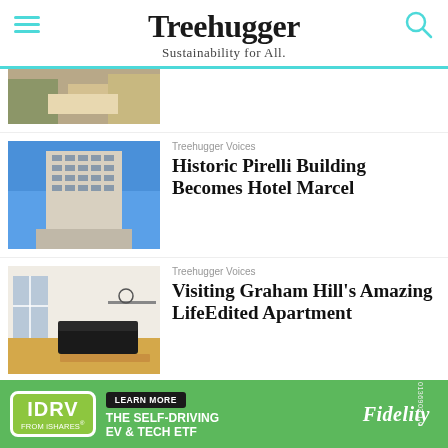Treehugger — Sustainability for All.
[Figure (photo): Partial thumbnail of a room interior, cropped at top]
Treehugger Voices
Historic Pirelli Building Becomes Hotel Marcel
[Figure (photo): Photo of the historic Pirelli building exterior, concrete brutalist architecture against blue sky]
Treehugger Voices
Visiting Graham Hill's Amazing LifeEdited Apartment
[Figure (photo): Photo of a modern minimalist apartment interior with dark sofa and wood floor]
Treehugger Voices
Electrify Everything: Why Our
[Figure (photo): Dark background image with text 'Electric cooking is cooler' and 'Flawless']
[Figure (advertisement): IDRV from iShares advertisement - The Self-Driving EV & Tech ETF - Learn More - Fidelity]